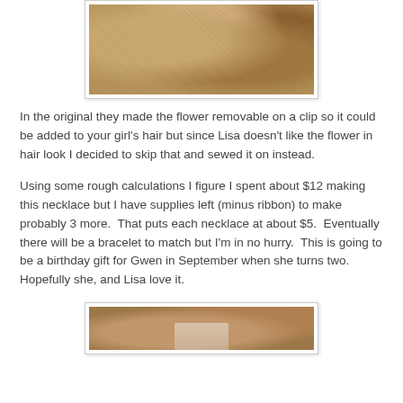[Figure (photo): Close-up photo of sandy/grainy brown textured material, possibly sand or breadcrumb texture, with pinkish container edges visible.]
In the original they made the flower removable on a clip so it could be added to your girl's hair but since Lisa doesn't like the flower in hair look I decided to skip that and sewed it on instead.
Using some rough calculations I figure I spent about $12 making this necklace but I have supplies left (minus ribbon) to make probably 3 more.  That puts each necklace at about $5.  Eventually there will be a bracelet to match but I'm in no hurry.  This is going to be a birthday gift for Gwen in September when she turns two.  Hopefully she, and Lisa love it.
[Figure (photo): Bottom portion of a photo showing hands holding what appears to be a ribbon or fabric item against a brown background.]